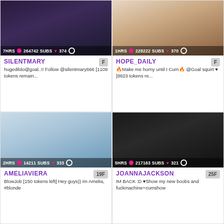[Figure (photo): Webcam thumbnail of SILENTMARY with overlay showing 7HRS, 264742 SUBS, 374 likes]
SILENTMARY
hugedildo@goal..!! Follow @silentmary666 [1109 tokens remain...
[Figure (photo): Webcam thumbnail of HOPE_DAILY with overlay showing 1HRS, 228222 SUBS, 370 likes]
HOPE_DAILY
🔥Make me horny until I Cum🔥 @Goal squirt ♥ [8823 tokens re...
[Figure (photo): Webcam thumbnail of AMELIAVIERA with overlay showing 2HRS, 14211 SUBS, 333 likes]
AMELIAVIERA
BlowJob [150 tokens left] Hey guys)) im Amelia, #blonde
[Figure (photo): Webcam thumbnail of JOANNAJACKSON with overlay showing 5HRS, 217163 SUBS, 321 likes]
JOANNAJACKSON
IM BACK :D ♥Show my new boobs and fuckmachine+cumshow